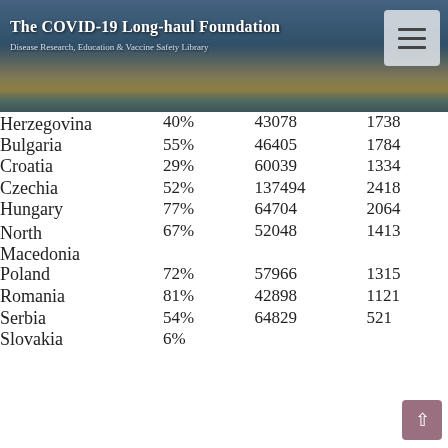The COVID-19 Long-haul Foundation
Disease Research, Education & Vaccine Safety Library
| Country | Pct | Num1 | Num2 |
| --- | --- | --- | --- |
| Herzegovina | 40% | 43078 | 1738 |
| Bulgaria | 55% | 46405 | 1784 |
| Croatia | 29% | 60039 | 1334 |
| Czechia | 52% | 137494 | 2418 |
| Hungary | 77% | 64704 | 2064 |
| North Macedonia | 67% | 52048 | 1413 |
| Poland | 72% | 57966 | 1315 |
| Romania | 81% | 42898 | 1121 |
| Serbia | 54% | 64829 | 521 |
| Slovakia | 6% | ... | ... |